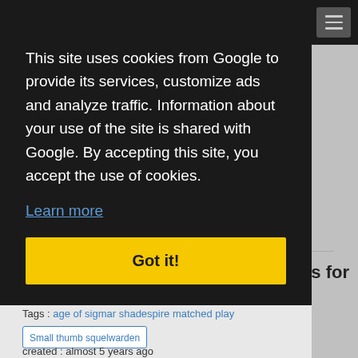War of Sigmar
This site uses cookies from Google to provide its services, customize ads and analyze traffic. Information about your use of the site is shared with Google. By accepting this site, you accept the use of cookies.
Learn more
Got it!
READ MORE   0 COMMENTS
Shadespire Orcs + Deathrattle rules for AOS
Tags : age of sigmar shadespire matched play
[Figure (other): Small thumb squelwarden image placeholder]
created : almost 5 years ago